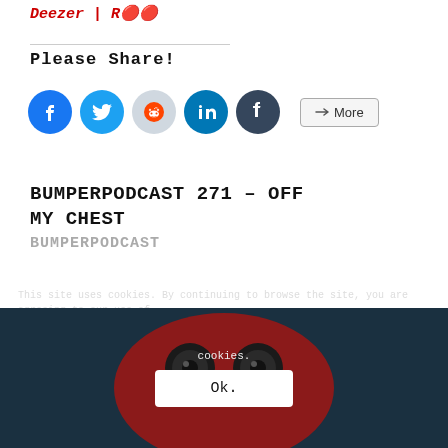Deezer | RSS
Please Share!
[Figure (other): Social share buttons: Facebook, Twitter, Reddit, LinkedIn, Tumblr, and a More button]
BUMPERPODCAST 271 – OFF MY CHEST
BUMPERPODCAST
This site uses cookies. By continuing to browse the site, you are agreeing to our use of cookies.
[Figure (photo): Dark teal background with a cartoon red character with large eyes visible, and a cookie consent overlay showing 'cookies.' text and an OK button]